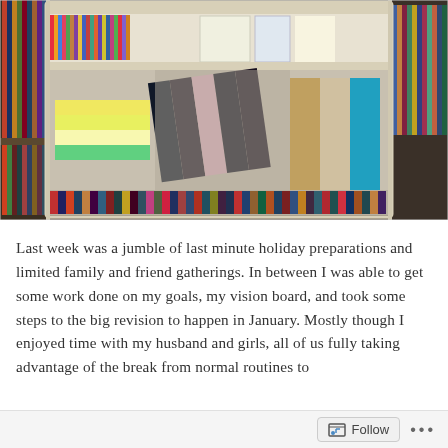[Figure (photo): A white/cream wire book cart with multiple shelves holding books and notebooks. Behind the cart is a wooden bookshelf filled with colorful book spines. The cart's middle shelf has books leaning at angles including dark-spined books. The bottom shelf and background shelves are filled with various books.]
Last week was a jumble of last minute holiday preparations and limited family and friend gatherings. In between I was able to get some work done on my goals, my vision board, and took some steps to the big revision to happen in January. Mostly though I enjoyed time with my husband and girls, all of us fully taking advantage of the break from normal routines to
Follow ...